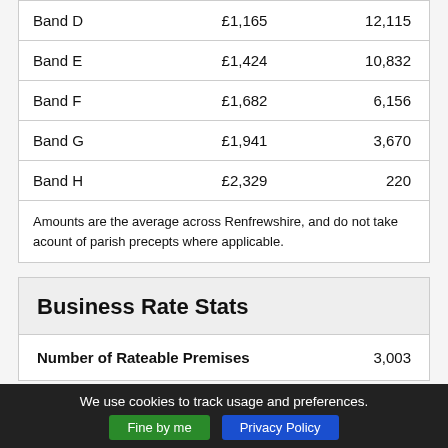| Band D | £1,165 | 12,115 |
| Band E | £1,424 | 10,832 |
| Band F | £1,682 | 6,156 |
| Band G | £1,941 | 3,670 |
| Band H | £2,329 | 220 |
Business Rate Stats
Number of Rateable Premises   3,003
We use cookies to track usage and preferences.